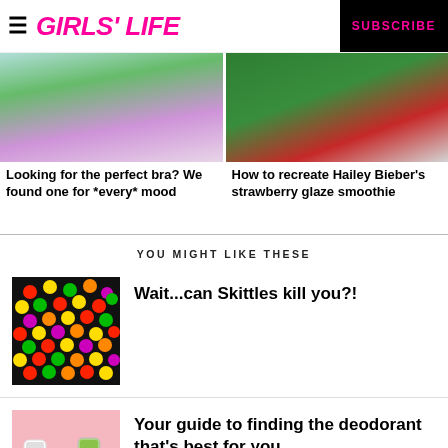GIRLS' LIFE | SUBSCRIBE
[Figure (photo): Photo of person wearing a pink bra top against green foliage background]
Looking for the perfect bra? We found one for *every* mood
[Figure (photo): Photo of person holding a strawberry near greenery]
How to recreate Hailey Bieber's strawberry glaze smoothie
YOU MIGHT LIKE THESE
[Figure (photo): Close-up photo of colorful Skittles candy in red, yellow, green, orange, and purple]
Wait...can Skittles kill you?!
[Figure (photo): Photo of various deodorant sticks on a pink background]
Your guide to finding the deodorant that's best for you